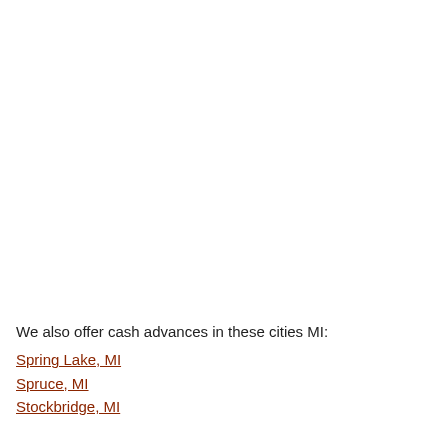We also offer cash advances in these cities MI:
Spring Lake, MI
Spruce, MI
Stockbridge, MI